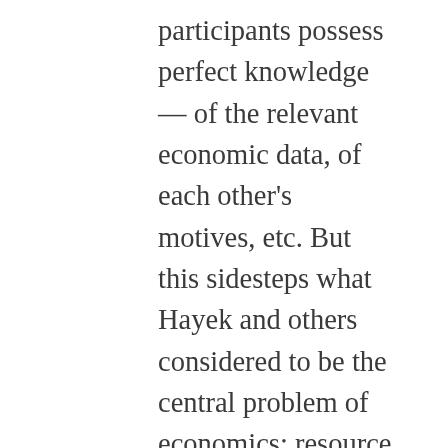participants possess perfect knowledge — of the relevant economic data, of each other's motives, etc. But this sidesteps what Hayek and others considered to be the central problem of economics: resource allocation in the context of imperfect knowledge. Hayek's great contribution to the Austrian tradition was puzzling out the implications of this fact for the market order. Stipulating perfect knowledge, therefore, begs the question and renders us unable to provide anything like a realistic treatment of actual people's actual behaviors in actual